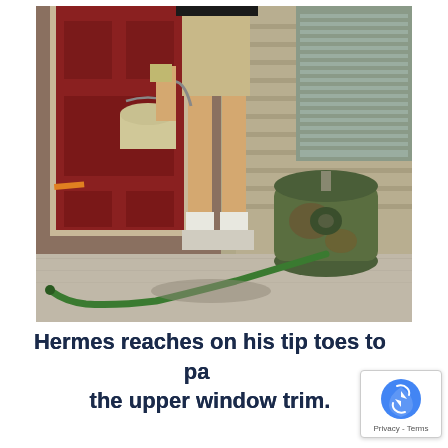[Figure (photo): A person from the waist down wearing khaki shorts, white socks and white sneakers, standing on a concrete porch. They are holding a paint bucket in their left hand. To their right is a rusty green garden hose reel with a green hose extending across the concrete. Behind them is a red door and beige siding with a window.]
Hermes reaches on his tip toes to paint the upper window trim.